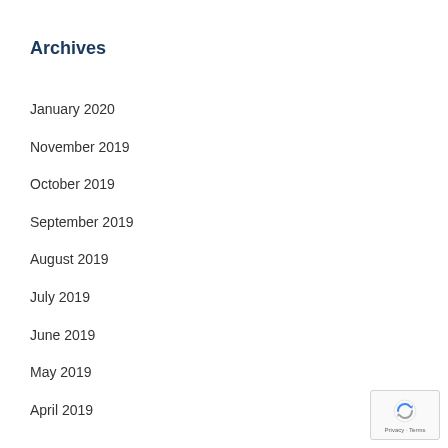Archives
January 2020
November 2019
October 2019
September 2019
August 2019
July 2019
June 2019
May 2019
April 2019